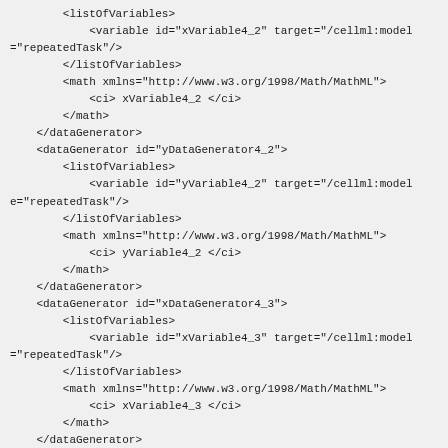<listOfVariables>
        <variable id="xVariable4_2" target="/cellml:model ="repeatedTask"/>
        </listOfVariables>
        <math xmlns="http://www.w3.org/1998/Math/MathML">
            <ci> xVariable4_2 </ci>
        </math>
    </dataGenerator>
    <dataGenerator id="yDataGenerator4_2">
        <listOfVariables>
            <variable id="yVariable4_2" target="/cellml:model e="repeatedTask"/>
        </listOfVariables>
        <math xmlns="http://www.w3.org/1998/Math/MathML">
            <ci> yVariable4_2 </ci>
        </math>
    </dataGenerator>
    <dataGenerator id="xDataGenerator4_3">
        <listOfVariables>
            <variable id="xVariable4_3" target="/cellml:mode ="repeatedTask"/>
        </listOfVariables>
        <math xmlns="http://www.w3.org/1998/Math/MathML">
            <ci> xVariable4_3 </ci>
        </math>
    </dataGenerator>
    <dataGenerator id="yDataGenerator4_3">
        <listOfVariables>
            <variable id="yVariable4_3" target="/cellml:model